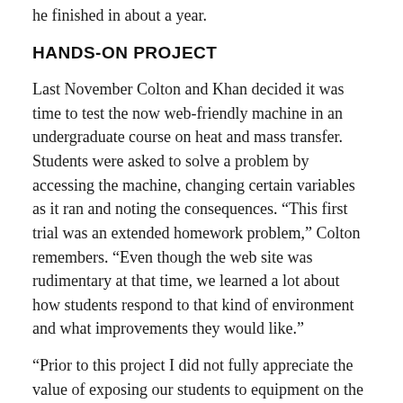he finished in about a year.
HANDS-ON PROJECT
Last November Colton and Khan decided it was time to test the now web-friendly machine in an undergraduate course on heat and mass transfer. Students were asked to solve a problem by accessing the machine, changing certain variables as it ran and noting the consequences. “This first trial was an extended homework problem,” Colton remembers. “Even though the web site was rudimentary at that time, we learned a lot about how students respond to that kind of environment and what improvements they would like.”
“Prior to this project I did not fully appreciate the value of exposing our students to equipment on the web,” he continued. That changed when the heat exchanger went online. Colton was surprised by the extent of students’ enthusiasm, even though he himself finds running the